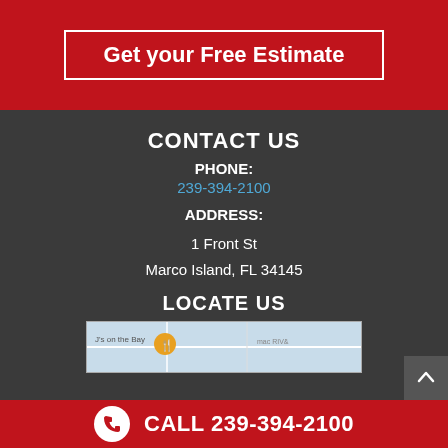Get your Free Estimate
CONTACT US
PHONE:
239-394-2100
ADDRESS:
1 Front St
Marco Island, FL 34145
LOCATE US
[Figure (map): Map showing location near J's on the Bay, Marco Island]
CALL 239-394-2100